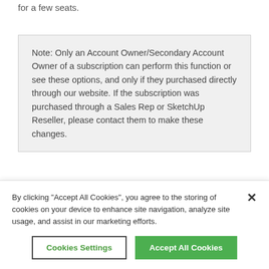for a few seats.
Note: Only an Account Owner/Secondary Account Owner of a subscription can perform this function or see these options, and only if they purchased directly through our website. If the subscription was purchased through a Sales Rep or SketchUp Reseller, please contact them to make these changes.
By clicking "Accept All Cookies", you agree to the storing of cookies on your device to enhance site navigation, analyze site usage, and assist in our marketing efforts.
Cookies Settings
Accept All Cookies